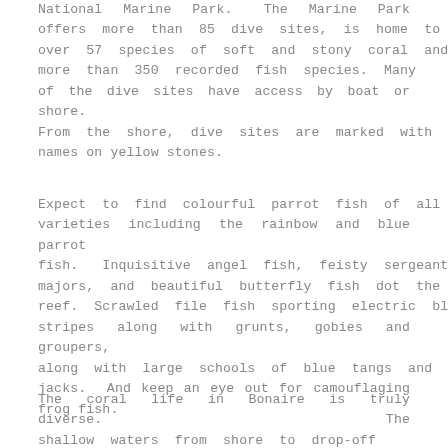National Marine Park.  The Marine Park offers more than 85 dive sites, is home to over 57 species of soft and stony coral and more than 350 recorded fish species. Many of the dive sites have access by boat or shore. From the shore, dive sites are marked with names on yellow stones.
Expect to find colourful parrot fish of all varieties including the rainbow and blue parrot fish.  Inquisitive angel fish, feisty sergeant majors, and beautiful butterfly fish dot the reef.  Scrawled file fish sporting electric blue stripes along with grunts, gobies and groupers, along with large schools of blue tangs and jacks.  And keep an eye out for camouflaging frog fish.
The coral life in Bonaire is truly diverse.  The shallow waters from shore to drop-off